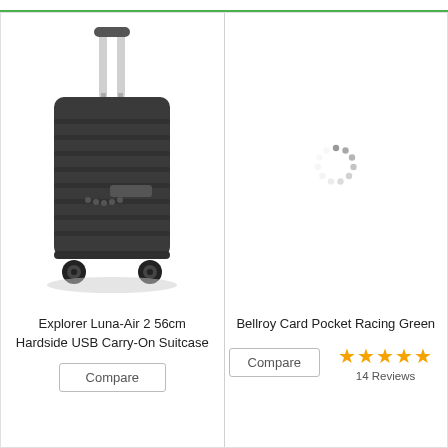[Figure (screenshot): Top green border bar]
[Figure (photo): Dark gray hardside carry-on suitcase with extended telescoping handle and four spinner wheels — Explorer Luna-Air 2 56cm Hardside USB Carry-On Suitcase]
Explorer Luna-Air 2 56cm Hardside USB Carry-On Suitcase
Compare
[Figure (other): Loading spinner (circular dots) indicating image is loading for Bellroy Card Pocket Racing Green product]
Bellroy Card Pocket Racing Green
Compare
14 Reviews